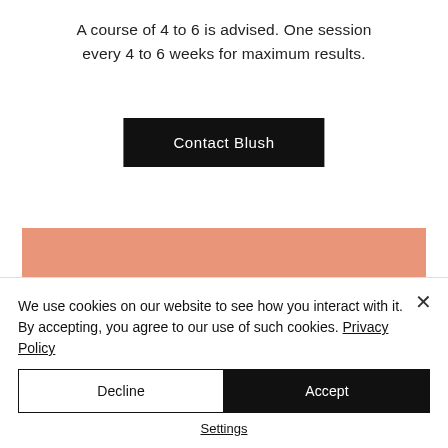A course of 4 to 6 is advised. One session every 4 to 6 weeks for maximum results.
Contact Blush
[Figure (other): Pink/salmon colored banner with italic serif text reading 'Blush Beauty & Aesthetics' and partially visible subtext below]
We use cookies on our website to see how you interact with it. By accepting, you agree to our use of such cookies. Privacy Policy
Decline
Accept
Settings